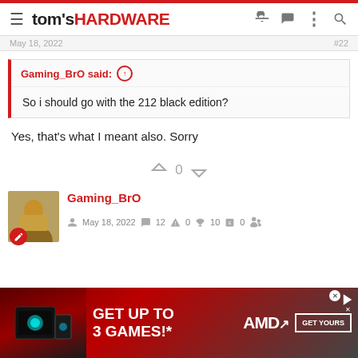tom's HARDWARE
May 18, 2022
Gaming_BrO said: ↑
So i should go with the 212 black edition?
Yes, that's what I meant also. Sorry
↑ 0 ↓
Gaming_BrO
May 18, 2022  12  0  10  0
[Figure (screenshot): AMD advertisement banner: GET UP TO 3 GAMES!* AMD GET YOURS]